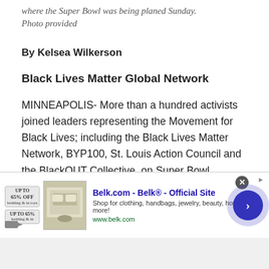where the Super Bowl was being planed Sunday. Photo provided
By Kelsea Wilkerson
Black Lives Matter Global Network
MINNEAPOLIS- More than a hundred activists joined leaders representing the Movement for Black Lives; including the Black Lives Matter Network, BYP100, St. Louis Action Council and the BlackOUT Collective, on Super Bowl Sunday to shut down several critical transit lines in Minneapolis, chanting, carrying banners, and
[Figure (screenshot): Advertisement banner for Belk.com - Belk Official Site showing store imagery and navigation arrow]